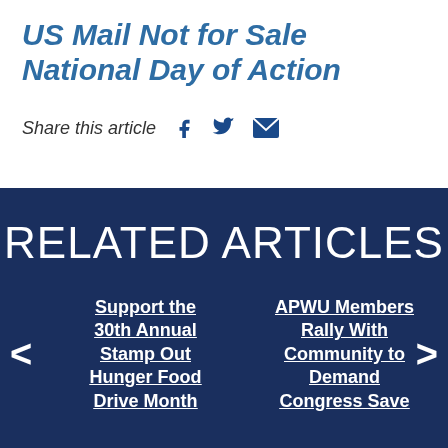US Mail Not for Sale National Day of Action
Share this article
RELATED ARTICLES
Support the 30th Annual Stamp Out Hunger Food Drive Month
APWU Members Rally With Community to Demand Congress Save